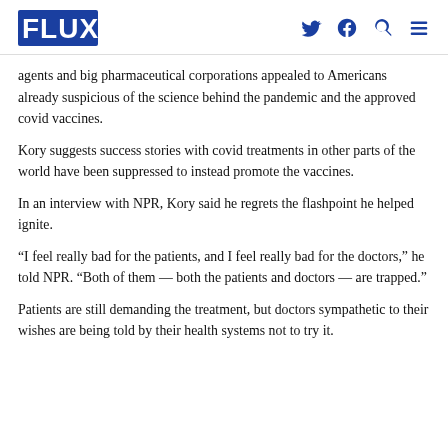FLUX [logo] [twitter] [facebook] [search] [menu]
agents and big pharmaceutical corporations appealed to Americans already suspicious of the science behind the pandemic and the approved covid vaccines.
Kory suggests success stories with covid treatments in other parts of the world have been suppressed to instead promote the vaccines.
In an interview with NPR, Kory said he regrets the flashpoint he helped ignite.
“I feel really bad for the patients, and I feel really bad for the doctors,” he told NPR. “Both of them — both the patients and doctors — are trapped.”
Patients are still demanding the treatment, but doctors sympathetic to their wishes are being told by their health systems not to try it.